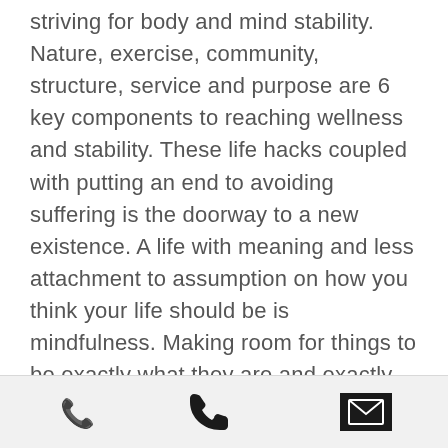striving for body and mind stability. Nature, exercise, community, structure, service and purpose are 6 key components to reaching wellness and stability. These life hacks coupled with putting an end to avoiding suffering is the doorway to a new existence. A life with meaning and less attachment to assumption on how you think your life should be is mindfulness. Making room for things to be exactly what they are and exactly what they aren't is how we'll make our way towards being More Mindful.

If this article spoke to you and you are interested in learning specific
[Figure (other): Bottom navigation/contact bar with a phone icon on the left and an email/envelope icon on the right on a light gray background.]